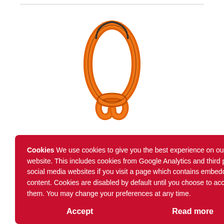[Figure (illustration): Orange chain link / master link illustration, showing a single oval ring with connecting links at the bottom]
mbly
g chain
system
links opens
s
rfect
Cookies We use cookies to give you the best experience on our website. This includes cookies from Google Analytics and third party social media websites if you visit a page which contains embedded content. Cookies are disabled by default until you choose to accept them. You may change your preferences at any time.
Accept
Read more